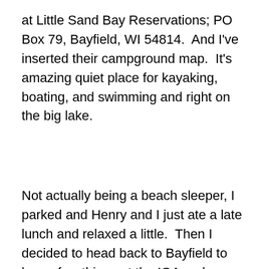at Little Sand Bay Reservations; PO Box 79, Bayfield, WI 54814.  And I've inserted their campground map.  It's amazing quiet place for kayaking, boating, and swimming and right on the big lake.
Not actually being a beach sleeper, I parked and Henry and I just ate a late lunch and relaxed a little.  Then I decided to head back to Bayfield to buy a few things at the IGA and...